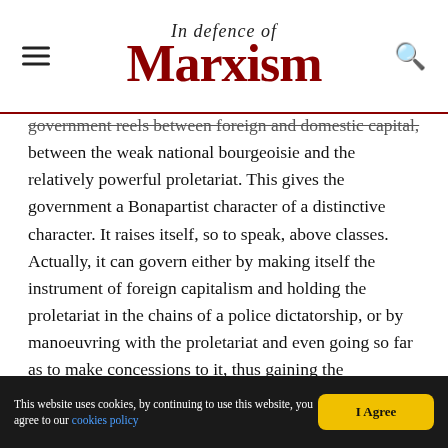In Defence of Marxism
government reels between foreign and domestic capital, between the weak national bourgeoisie and the relatively powerful proletariat. This gives the government a Bonapartist character of a distinctive character. It raises itself, so to speak, above classes. Actually, it can govern either by making itself the instrument of foreign capitalism and holding the proletariat in the chains of a police dictatorship, or by manoeuvring with the proletariat and even going so far as to make concessions to it, thus gaining the possibility of a certain freedom from the foreign capitalists. The present policy of Cárdenas is in the second stage; its greatest conquests are the expropriations of the railroads and the oil industries. These measures are entirely within the domain of state capitalism. However, in a semicolonial country, state capitalism finds itself under the heavy pressure of private foreign capital and of its
This website uses cookies, by continuing to use this website, you agree to our cookies policy | I Agree